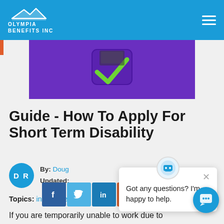Olympia Benefits Inc
[Figure (illustration): Purple banner with a green checkmark shield icon]
Guide - How To Apply For Short Term Disability
By: Doug R
Updated: ...
Topics: insurance
[Figure (screenshot): Chat popup with message: Got any questions? I'm happy to help.]
If you are temporarily unable to work due to